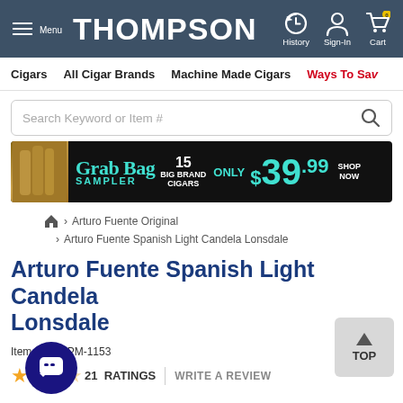THOMPSON — Menu | History | Sign-In | Cart
Cigars | All Cigar Brands | Machine Made Cigars | Ways To Save
[Figure (screenshot): Search bar with placeholder text 'Search Keyword or Item #' and magnifying glass icon]
[Figure (infographic): Grab Bag Sampler banner: 15 Big Brand Cigars Only $39.99 Shop Now]
Home > Arturo Fuente Original > Arturo Fuente Spanish Light Candela Lonsdale
Arturo Fuente Spanish Light Candela Lonsdale
Item # AFA-PM-1153
21 RATINGS | WRITE A REVIEW